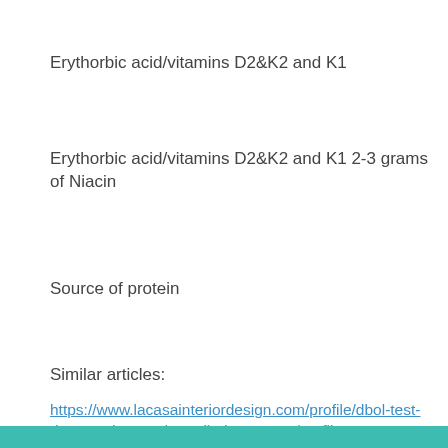Erythorbic acid/vitamins D2&K2 and K1
Erythorbic acid/vitamins D2&K2 and K1 2-3 grams of Niacin
Source of protein
Similar articles:
https://www.lacasainteriordesign.com/profile/dbol-test-deca-cycle-test-deca-dbol-cyc-2651/profile https://www.tokuharakougei.com/profile/dbal-insert-example-doctrinedbal-query-4475/profile https://www.xn--4m2b0a63iw7eb1glwk8zc.com/profile/ligandrol-china-sarms-1516-4486/profile https://es.ingridsclay.com/profile/steroids-and-kidneys-prednisone-and-kid-1629/profile